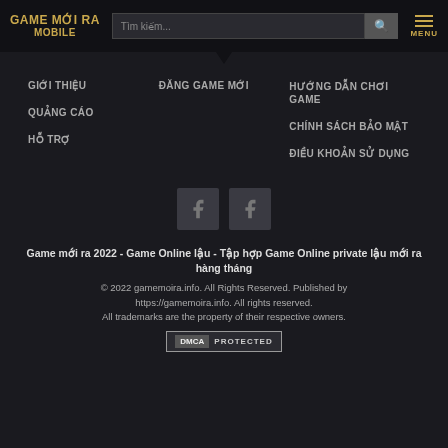GAME MỚI RA MOBILE — search bar — MENU
GIỚI THIỆU
ĐĂNG GAME MỚI
HƯỚNG DẪN CHƠI GAME
QUẢNG CÁO
CHÍNH SÁCH BẢO MẬT
HỖ TRỢ
ĐIỀU KHOẢN SỬ DỤNG
[Figure (illustration): Two Facebook social media icons side by side]
Game mới ra 2022 - Game Online lậu - Tập hợp Game Online private lậu mới ra hàng tháng
© 2022 gamemoira.info. All Rights Reserved. Published by https://gamemoira.info. All rights reserved. All trademarks are the property of their respective owners.
[Figure (logo): DMCA PROTECTED badge]